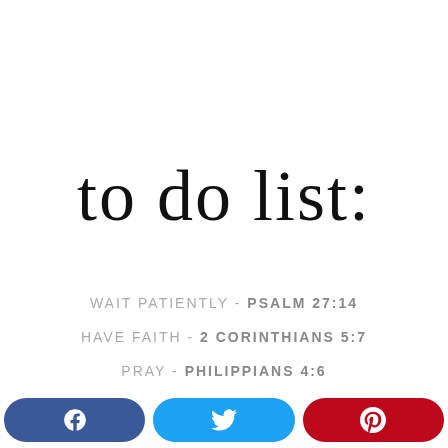to do list:
WAIT PATIENTLY - PSALM 27:14
HAVE FAITH - 2 CORINTHIANS 5:7
PRAY - PHILIPPIANS 4:6
[Figure (infographic): Social media share buttons row: Facebook (blue), Twitter (light blue), Pinterest (red) with icons]